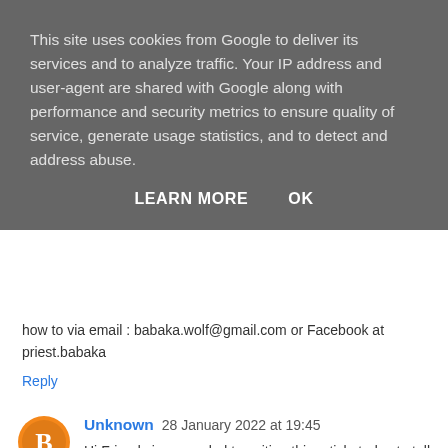This site uses cookies from Google to deliver its services and to analyze traffic. Your IP address and user-agent are shared with Google along with performance and security metrics to ensure quality of service, generate usage statistics, and to detect and address abuse.
LEARN MORE   OK
how to via email : babaka.wolf@gmail.com or Facebook at priest.babaka
Reply
Unknown  28 January 2022 at 19:45
Hi Friends i am so glad to writing this article today to tell the world how Dr voodoo cured my HSV VIRUS,i have been detected with HSV-1 AND HSV-2 since five years ago, ever since then my life has been in complete bizarre and agony,i have used so many drugs that was prescribed to me by several doctors,but it didn't cure my HSV VIRUS neither did it reduce the pain,until a certain i was checking for solution in the internet,then miraculously came across Dr voodoo